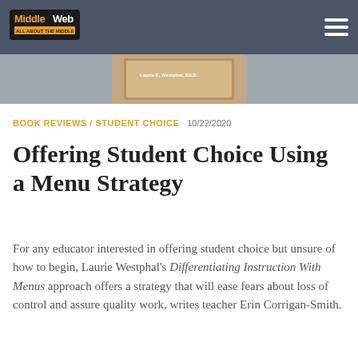MiddleWeb
[Figure (photo): Banner image showing a book cover by Laurie Westphal on a desk background]
BOOK REVIEWS / STUDENT CHOICE  10/22/2020
Offering Student Choice Using a Menu Strategy
For any educator interested in offering student choice but unsure of how to begin, Laurie Westphal's Differentiating Instruction With Menus approach offers a strategy that will ease fears about loss of control and assure quality work, writes teacher Erin Corrigan-Smith.